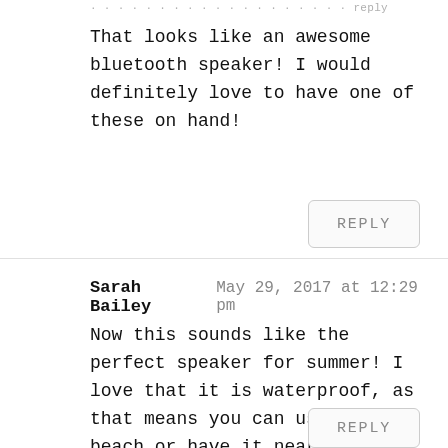...reply
That looks like an awesome bluetooth speaker! I would definitely love to have one of these on hand!
REPLY
Sarah Bailey   May 29, 2017 at 12:29 pm
Now this sounds like the perfect speaker for summer! I love that it is waterproof, as that means you can use it at beach or have it near the pool and it would be safe!
REPLY